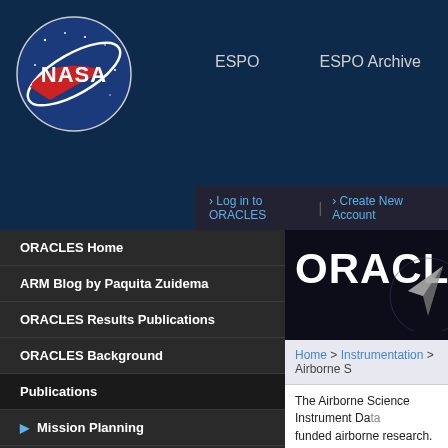[Figure (screenshot): NASA logo - blue circle with red chevron and orbital ring]
ESPO   ESPO Archive   › Log in to ORACLES | › Create New Account
ORACLES Home
ARM Blog by Paquita Zuidema
ORACLES Results Publications
ORACLES Background
Publications
Mission Planning
Science
Data Archive
Science Meetings
Logistics
Platforms
Instruments
ORACLES
Home > Instrumentation > Airborne S
The Airborne Science Instrument Data funded airborne research.
To search the database, use any of th bottom of the page. Clicking on any in
Currently displayed: instruments 1 - 2
Title or Acronym
PI / Manager